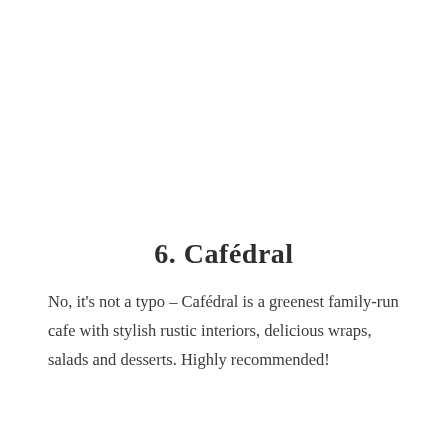6. Cafédral
No, it's not a typo – Cafédral is a greenest family-run cafe with stylish rustic interiors, delicious wraps, salads and desserts. Highly recommended!